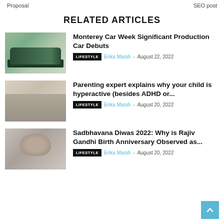Proposal    SEO post
RELATED ARTICLES
[Figure (photo): Green sports car driving on a road with trees in background]
Monterey Car Week Significant Production Car Debuts
LIFESTYLE  Erika Marsh - August 22, 2022
[Figure (photo): Person lying on a couch, child visible in background]
Parenting expert explains why your child is hyperactive (besides ADHD or...
LIFESTYLE  Erika Marsh - August 20, 2022
[Figure (photo): Portrait of a man, likely Rajiv Gandhi]
Sadbhavana Diwas 2022: Why is Rajiv Gandhi Birth Anniversary Observed as...
LIFESTYLE  Erika Marsh - August 20, 2022